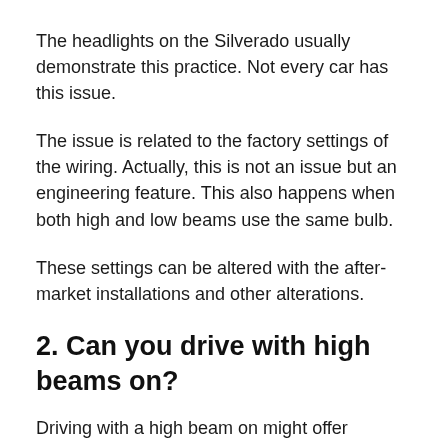The headlights on the Silverado usually demonstrate this practice. Not every car has this issue.
The issue is related to the factory settings of the wiring. Actually, this is not an issue but an engineering feature. This also happens when both high and low beams use the same bulb.
These settings can be altered with the after-market installations and other alterations.
2. Can you drive with high beams on?
Driving with a high beam on might offer